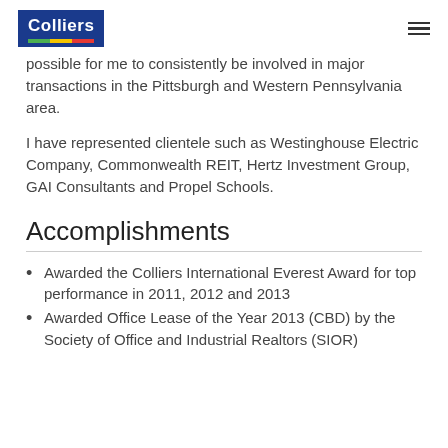Colliers
possible for me to consistently be involved in major transactions in the Pittsburgh and Western Pennsylvania area.
I have represented clientele such as Westinghouse Electric Company, Commonwealth REIT, Hertz Investment Group, GAI Consultants and Propel Schools.
Accomplishments
Awarded the Colliers International Everest Award for top performance in 2011, 2012 and 2013
Awarded Office Lease of the Year 2013 (CBD) by the Society of Office and Industrial Realtors (SIOR)